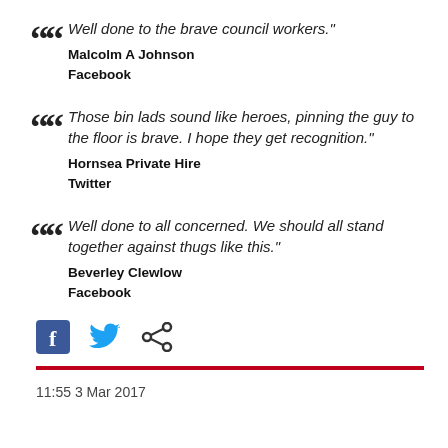Well done to the brave council workers."
Malcolm A Johnson
Facebook
Those bin lads sound like heroes, pinning the guy to the floor is brave. I hope they get recognition."
Hornsea Private Hire
Twitter
Well done to all concerned. We should all stand together against thugs like this."
Beverley Clewlow
Facebook
[Figure (infographic): Social media sharing icons: Facebook, Twitter, and share button]
11:55 3 Mar 2017